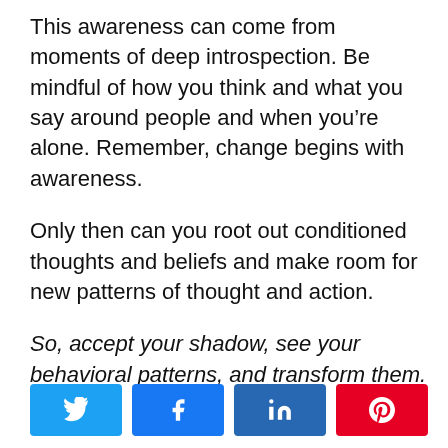This awareness can come from moments of deep introspection. Be mindful of how you think and what you say around people and when you're alone. Remember, change begins with awareness.
Only then can you root out conditioned thoughts and beliefs and make room for new patterns of thought and action.
So, accept your shadow, see your behavioral patterns, and transform them.
[Figure (other): Social sharing buttons: Twitter, Facebook, LinkedIn, Pinterest]